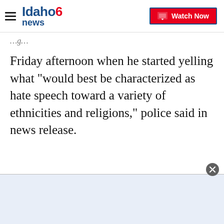Idaho News 6 — Watch Now
Friday afternoon when he started yelling what "would best be characterized as hate speech toward a variety of ethnicities and religions," police said in news release.
[Figure (other): Advertisement overlay at the bottom of the page with a close (X) button]